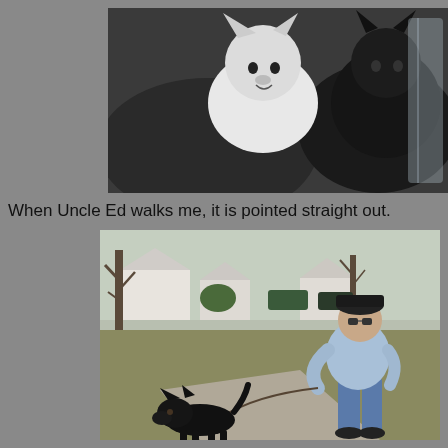[Figure (photo): Two dogs — a white West Highland Terrier and a black Scottish Terrier — seen through a car window or glass surface, looking out.]
When Uncle Ed walks me, it is pointed straight out.
[Figure (photo): An older man in a baseball cap and light blue jacket standing on a sidewalk, holding a leash attached to a small black Scottish Terrier with its tail pointing straight out. A tree and suburban houses are visible in the background.]